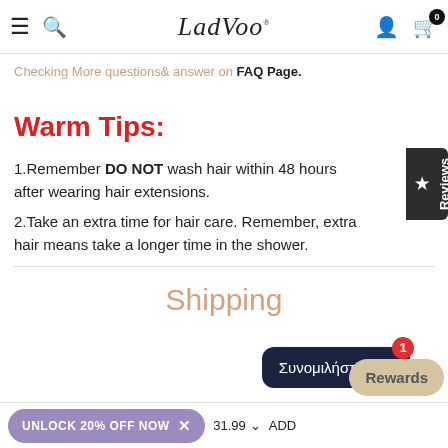LadVoo
Checking More questions& answer on FAQ Page.
Warm Tips:
1.Remember DO NOT wash hair within 48 hours after wearing hair extensions.
2.Take an extra time for hair care. Remember, extra hair means take a longer time in the shower.
Shipping